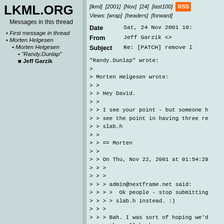LKML.ORG
Messages in this thread
First message in thread
Morten Helgesen
Morten Helgesen
"Randy.Dunlap"
Jeff Garzik
[lkml]  [2001]  [Nov]  [24]  [last100]  RSS  Views: [wrap]  [headers]  [forward]
Date	Sat, 24 Nov 2001 10:
From	Jeff Garzik <>
Subject	Re: [PATCH] remove l
"Randy.Dunlap" wrote:
>
> Morten Helgesen wrote:
> >
> > Hey David.
> >
> > I see your point - but someone h
> > see the point in having three re
> > slab.h
> >
> > == Morten
> >
> > On Thu, Nov 22, 2001 at 01:54:29
> > >
> > >
> > > admin@nextframe.net said:
> > > >  Ok people - stop submitting
> > > > slab.h instead. :)
> > >
> > > Bah. I was sort of hoping we'd
> > > them all back.